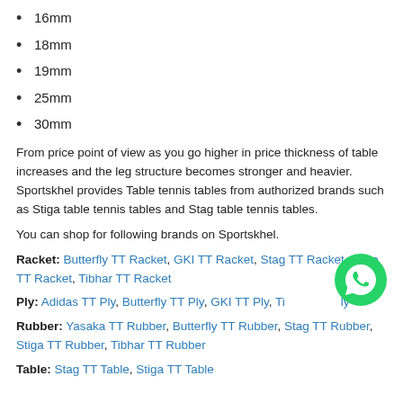16mm
18mm
19mm
25mm
30mm
From price point of view as you go higher in price thickness of table increases and the leg structure becomes stronger and heavier. Sportskhel provides Table tennis tables from authorized brands such as Stiga table tennis tables and Stag table tennis tables.
You can shop for following brands on Sportskhel.
Racket: Butterfly TT Racket, GKI TT Racket, Stag TT Racket, Stiga TT Racket, Tibhar TT Racket
Ply: Adidas TT Ply, Butterfly TT Ply, GKI TT Ply, Ti... ly
Rubber: Yasaka TT Rubber, Butterfly TT Rubber, Stag TT Rubber, Stiga TT Rubber, Tibhar TT Rubber
Table: Stag TT Table, Stiga TT Table